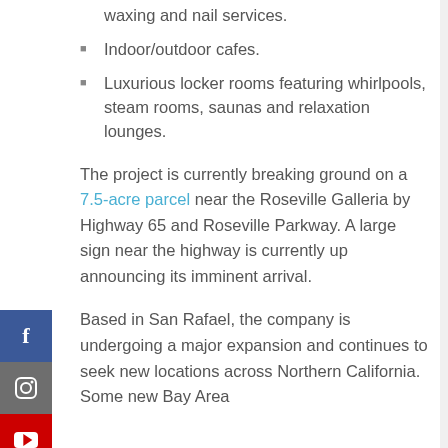waxing and nail services.
Indoor/outdoor cafes.
Luxurious locker rooms featuring whirlpools, steam rooms, saunas and relaxation lounges.
The project is currently breaking ground on a 7.5-acre parcel near the Roseville Galleria by Highway 65 and Roseville Parkway. A large sign near the highway is currently up announcing its imminent arrival.
Based in San Rafael, the company is undergoing a major expansion and continues to seek new locations across Northern California. Some new Bay Area